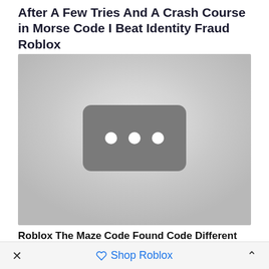After A Few Tries And A Crash Course in Morse Code I Beat Identity Fraud Roblox
[Figure (screenshot): A video thumbnail placeholder with a dark gray rounded rectangle containing three white dots, on a light gray background — typical of a loading or unavailable video thumbnail.]
Roblox The Maze Code Found Code Different
× Shop Roblox ^